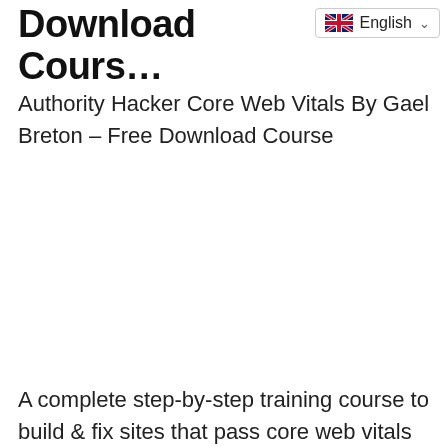Download Cours
[Figure (screenshot): Language selector dropdown showing UK flag and 'English' text with chevron]
Authority Hacker Core Web Vitals By Gael Breton – Free Download Course
A complete step-by-step training course to build & fix sites that pass core web vitals